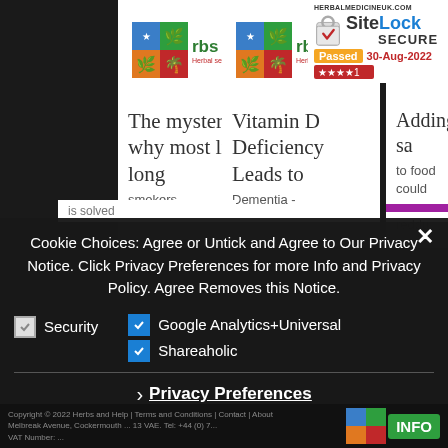[Figure (screenshot): Website screenshot showing herbalmedicineuk.com with article cards and SiteLock security badge. Three article cards visible: 'The mystery of why most life-long smokers...', 'Vitamin D Deficiency Leads to Dementia -...', and 'Adding sa... to food could redu...'. SiteLock Passed 30-Aug-2022 badge in top right.]
Cookie Choices: Agree or Untick and Agree to Our Privacy Notice. Click Privacy Preferences for more Info and Privacy Policy. Agree Removes this Notice.
Security (unchecked)
Google Analytics+Universal (checked)
Shareaholic (checked)
Privacy Preferences
I Agree
Copyright © 2022 Herbs and Help | Terms and Conditions | Contact | About Melbreak Avenue, Cockermouth ... VAT Number ...